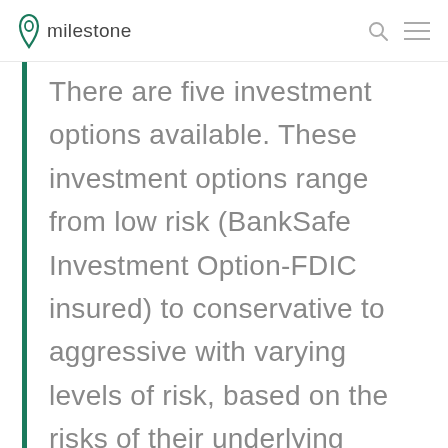milestone
There are five investment options available. These investment options range from low risk (BankSafe Investment Option-FDIC insured) to conservative to aggressive with varying levels of risk, based on the risks of their underlying component investments.